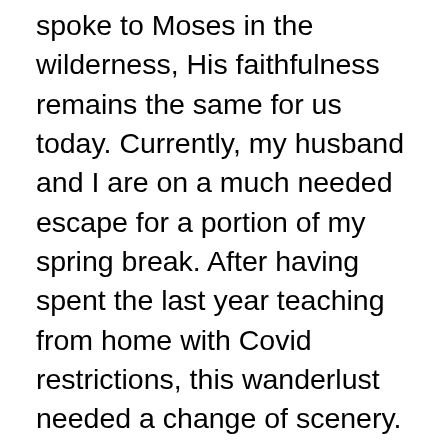spoke to Moses in the wilderness, His faithfulness remains the same for us today. Currently, my husband and I are on a much needed escape for a portion of my spring break. After having spent the last year teaching from home with Covid restrictions, this wanderlust needed a change of scenery. Thankfully, we booked our trip months ago, so this getaway was much anticipated, and something that we have both been looking forward to. Our destination may seem unusual for one who loves to get outside and discover new places, but surprisingly, Las Vegas is conveniently located near many gorgeous parks and holds great opportunities for adventure. Yesterday, we hopped into our